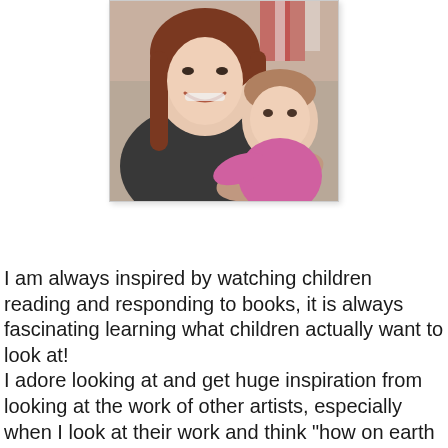[Figure (photo): A smiling young woman with long brown hair holding a baby/toddler dressed in pink. The photo has a white border and slight shadow, appearing as a polaroid-style snapshot taken indoors.]
I am always inspired by watching children reading and responding to books, it is always fascinating learning what children actually want to look at!
I adore looking at and get huge inspiration from looking at the work of other artists, especially when I look at their work and think "how on earth did they do, or how